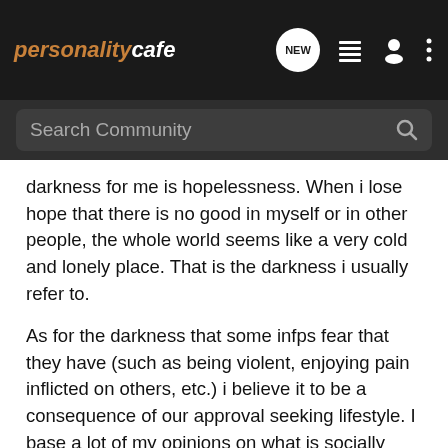personalitycafe
darkness for me is hopelessness. When i lose hope that there is no good in myself or in other people, the whole world seems like a very cold and lonely place. That is the darkness i usually refer to.
As for the darkness that some infps fear that they have (such as being violent, enjoying pain inflicted on others, etc.) i believe it to be a consequence of our approval seeking lifestyle. I base a lot of my opinions on what is socially acceptable and "normal". If i take away that need to be socially accepted, then what am i? I feared that i might be a serial killer or a rapist if i was brave enough to be unaffected by my social awareness, but i know better now.
We serve humanity, and that is why we continuously change